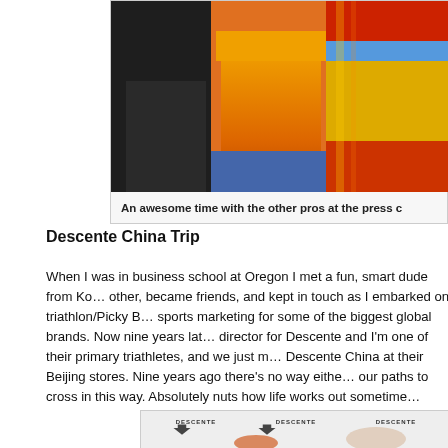[Figure (photo): Photo of people in traditional/colorful clothing at a press conference, partially cropped]
An awesome time with the other pros at the press c...
Descente China Trip
When I was in business school at Oregon I met a fun, smart dude from Ko... other, became friends, and kept in touch as I embarked on triathlon/Picky B... sports marketing for some of the biggest global brands. Now nine years la... director for Descente and I'm one of their primary triathletes, and we just m... Descente China at their Beijing stores. Nine years ago there's no way either... our paths to cross in this way. Absolutely nuts how life works out sometime...
[Figure (photo): Two men posing in front of a Descente branded backdrop/step-and-repeat banner]